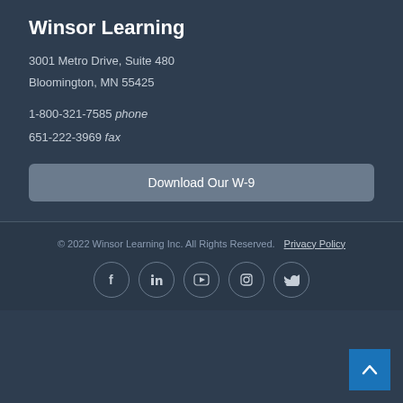Winsor Learning
3001 Metro Drive, Suite 480
Bloomington, MN 55425
1-800-321-7585 phone
651-222-3969 fax
Download Our W-9
© 2022 Winsor Learning Inc. All Rights Reserved.    Privacy Policy
[Figure (infographic): Social media icons in circles: Facebook, LinkedIn, YouTube, Instagram, Twitter]